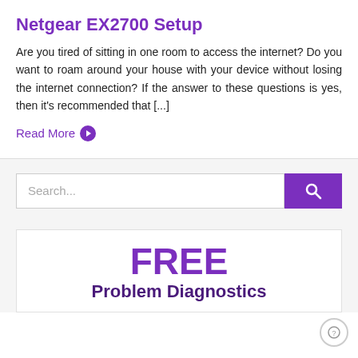Netgear EX2700 Setup
Are you tired of sitting in one room to access the internet? Do you want to roam around your house with your device without losing the internet connection? If the answer to these questions is yes, then it's recommended that [...]
Read More →
Search...
FREE
Problem Diagnostics